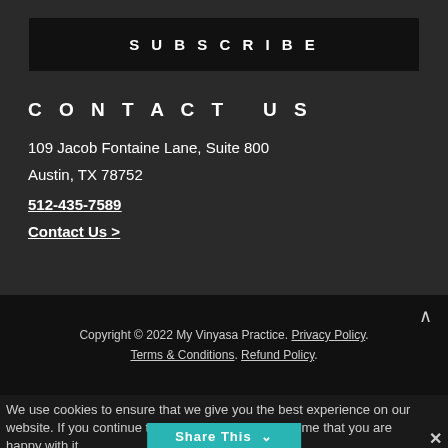SUBSCRIBE
CONTACT US
109 Jacob Fontaine Lane, Suite 800
Austin, TX 78752
512-435-7589
Contact Us >
Copyright © 2022 My Vinyasa Practice. Privacy Policy. Terms & Conditions. Refund Policy.
We use cookies to ensure that we give you the best experience on our website. If you continue to use this site we will assume that you are happy with it.